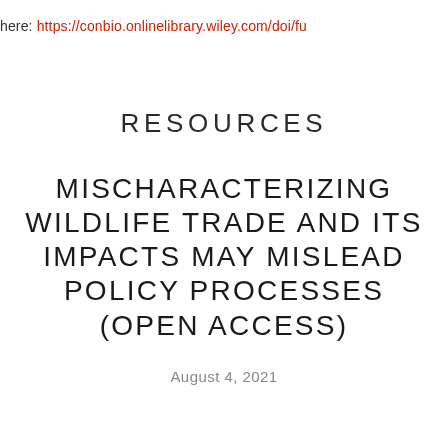here: https://conbio.onlinelibrary.wiley.com/doi/fu
RESOURCES
MISCHARACTERIZING WILDLIFE TRADE AND ITS IMPACTS MAY MISLEAD POLICY PROCESSES (OPEN ACCESS)
August 4, 2021